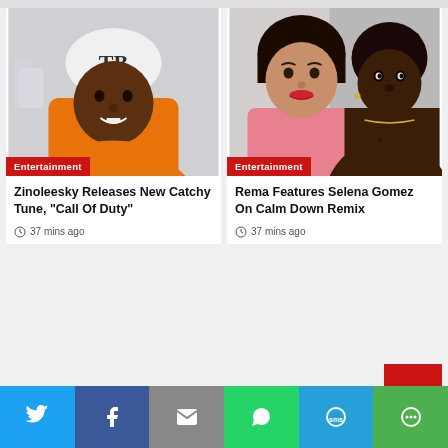[Figure (photo): Young Black male artist wearing white beanie with logo and orange hoodie, looking at camera]
Entertainment
Zinoleesky Releases New Catchy Tune, “Call Of Duty”
37 mins ago
[Figure (photo): Female celebrity with dark hair wearing pink, alongside shirtless young Black male artist with chain necklace]
Entertainment
Rema Features Selena Gomez On Calm Down Remix
37 mins ago